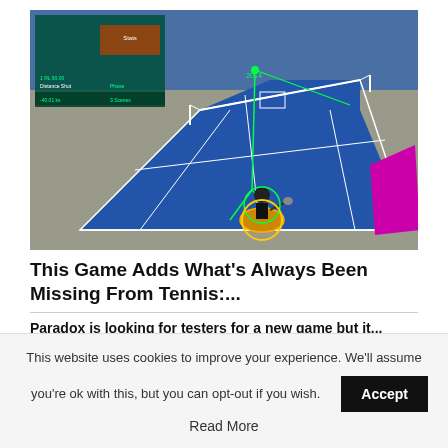[Figure (screenshot): 3D rendered tennis game screenshot showing a blue tennis court from a top-down perspective. A player character is visible at the bottom center. Green lines track ball trajectory. Various data overlays visible in top-left corner including stats panels. A magenta/pink rectangle appears on the right side of the court. Gray surroundings, blue sky background.]
This Game Adds What's Always Been Missing From Tennis:...
Paradox is looking for testers for a new game but it...
This website uses cookies to improve your experience. We'll assume you're ok with this, but you can opt-out if you wish.
Accept
Read More